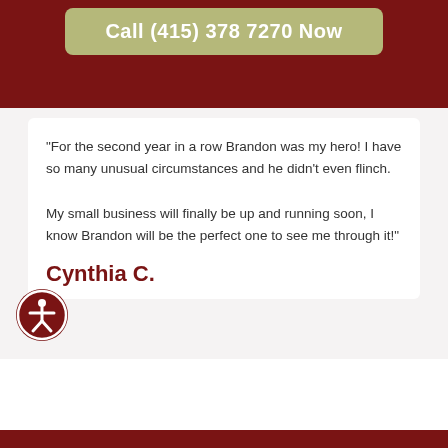[Figure (other): Call to action button with phone number: Call (415) 378 7270 Now on dark red banner background]
"For the second year in a row Brandon was my hero! I have so many unusual circumstances and he didn't even flinch.

My small business will finally be up and running soon, I know Brandon will be the perfect one to see me through it!"
Cynthia C.
[Figure (illustration): Accessibility icon - person in circle logo, dark red on white background]